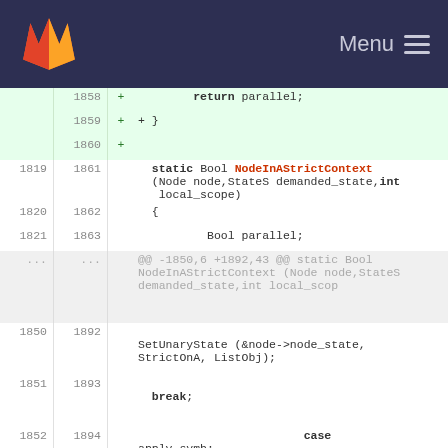GitLab Menu
[Figure (screenshot): Code diff view showing C source code with line numbers, added lines (green background) and context lines. Lines 1858-1895 shown. Function NodeInAStrictContext with parameters, local_scope, Bool parallel, SetUnaryState call, break, case apply_symb.]